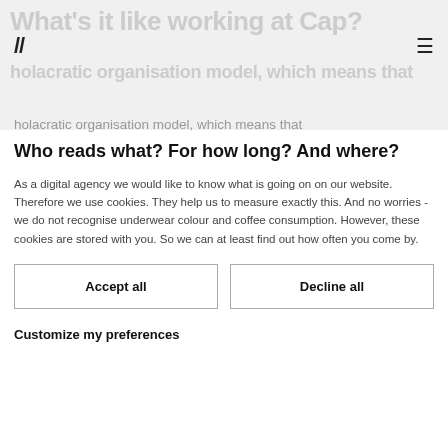[Figure (screenshot): Faded background showing partial website header with blurred/greyed text 'What's it like working at Cap?' and navigation bar with double-slash logo and hamburger menu icon]
// ≡
holacratic organisation model, which means that
Who reads what? For how long? And where?
As a digital agency we would like to know what is going on on our website. Therefore we use cookies. They help us to measure exactly this. And no worries - we do not recognise underwear colour and coffee consumption. However, these cookies are stored with you. So we can at least find out how often you come by.
Accept all
Decline all
Customize my preferences